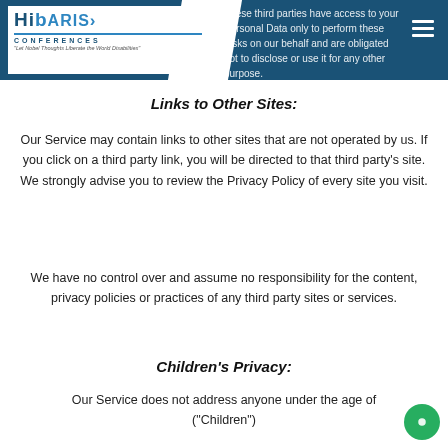These third parties have access to your Personal Data only to perform these tasks on our behalf and are obligated not to disclose or use it for any other purpose.
Links to Other Sites:
Our Service may contain links to other sites that are not operated by us. If you click on a third party link, you will be directed to that third party's site. We strongly advise you to review the Privacy Policy of every site you visit.
We have no control over and assume no responsibility for the content, privacy policies or practices of any third party sites or services.
Children's Privacy:
Our Service does not address anyone under the age of ("Children")